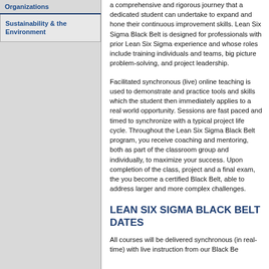Organizations
Sustainability & the Environment
a comprehensive and rigorous journey that a dedicated student can undertake to expand and hone their continuous improvement skills. Lean Six Sigma Black Belt is designed for professionals with prior Lean Six Sigma experience and whose roles include training individuals and teams, big picture problem-solving, and project leadership.
Facilitated synchronous (live) online teaching is used to demonstrate and practice tools and skills which the student then immediately applies to a real world opportunity. Sessions are fast paced and timed to synchronize with a typical project life cycle. Throughout the Lean Six Sigma Black Belt program, you receive coaching and mentoring, both as part of the classroom group and individually, to maximize your success. Upon completion of the class, project and a final exam, the you become a certified Black Belt, able to address larger and more complex challenges.
LEAN SIX SIGMA BLACK BELT DATES
All courses will be delivered synchronous (in real-time) with live instruction from our Black Belt